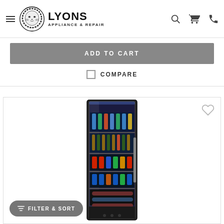LYONS APPLIANCE & REPAIR
ADD TO CART
COMPARE
[Figure (photo): A tall glass-door beverage refrigerator/cooler stocked with drinks including bottles and cans on multiple shelves, displayed on a white background.]
FILTER & SORT